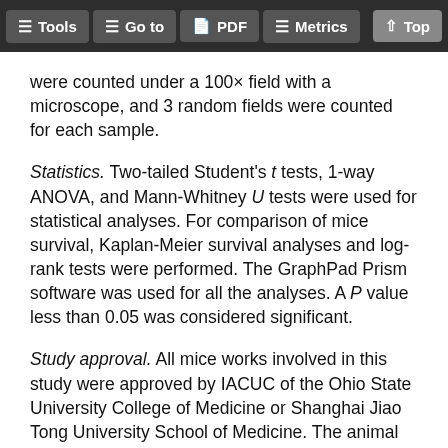Tools  Go to  PDF  Metrics  Top
were counted under a 100× field with a microscope, and 3 random fields were counted for each sample.
Statistics. Two-tailed Student's t tests, 1-way ANOVA, and Mann-Whitney U tests were used for statistical analyses. For comparison of mice survival, Kaplan-Meier survival analyses and log-rank tests were performed. The GraphPad Prism software was used for all the analyses. A P value less than 0.05 was considered significant.
Study approval. All mice works involved in this study were approved by IACUC of the Ohio State University College of Medicine or Shanghai Jiao Tong University School of Medicine. The animal facilities were fully accredited by American Association for Accreditation of Laboratory Animal...